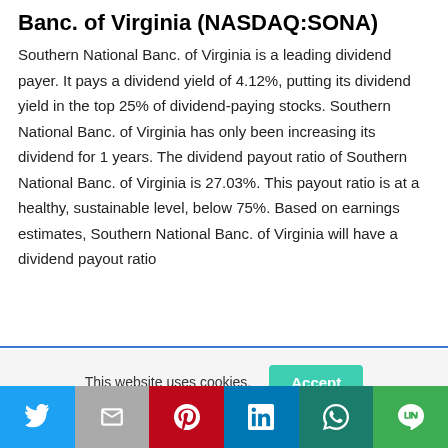Banc. of Virginia (NASDAQ:SONA)
Southern National Banc. of Virginia is a leading dividend payer. It pays a dividend yield of 4.12%, putting its dividend yield in the top 25% of dividend-paying stocks. Southern National Banc. of Virginia has only been increasing its dividend for 1 years. The dividend payout ratio of Southern National Banc. of Virginia is 27.03%. This payout ratio is at a healthy, sustainable level, below 75%. Based on earnings estimates, Southern National Banc. of Virginia will have a dividend payout ratio
This website uses cookies.
[Figure (other): Social media share buttons bar: Twitter, Gmail, Pinterest, LinkedIn, WhatsApp, LINE]